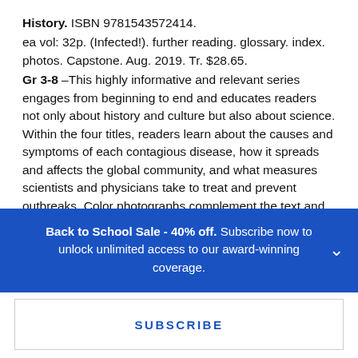History. ISBN 9781543572414.
ea vol: 32p. (Infected!). further reading. glossary. index. photos. Capstone. Aug. 2019. Tr. $28.65.
Gr 3-8 –This highly informative and relevant series engages from beginning to end and educates readers not only about history and culture but also about science. Within the four titles, readers learn about the causes and symptoms of each contagious disease, how it spreads and affects the global community, and what measures scientists and physicians take to treat and prevent outbreaks. Color photographs complement the text and allow readers to see how complicated preventing and treating the diseases can be. No bibliography or source
Back to School Sale - 40% off. Subscribe now to unlock unlimited access to our award-winning coverage.
SUBSCRIBE